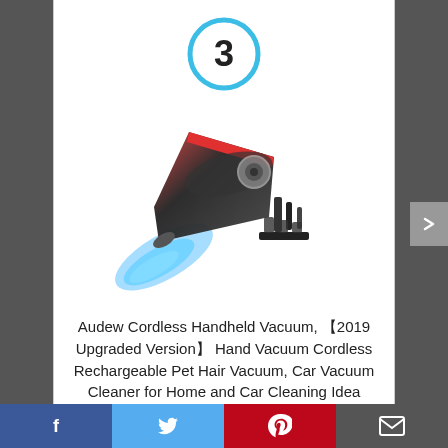[Figure (other): Blue circle with number 3 inside, ranking badge]
[Figure (photo): Product photo of Audew cordless handheld vacuum cleaner with accessories, red and black design with blue light effect]
Audew Cordless Handheld Vacuum, 【2019 Upgraded Version】 Hand Vacuum Cordless Rechargeable Pet Hair Vacuum, Car Vacuum Cleaner for Home and Car Cleaning Idea
By Audew
View Product